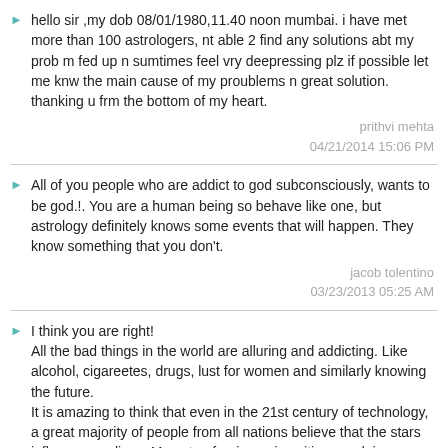hello sir ,my dob 08/01/1980,11.40 noon mumbai. i have met more than 100 astrologers, nt able 2 find any solutions abt my prob m fed up n sumtimes feel vry deepressing plz if possible let me knw the main cause of my proublems n great solution. thanking u frm the bottom of my heart.
prithvi mehta
04/21/2014 15:06 PM
All of you people who are addict to god subconsciously, wants to be god.!. You are a human being so behave like one, but astrology definitely knows some events that will happen. They know something that you don't.
jacob tolentino
03/23/2013 05:25 AM
I think you are right!
All the bad things in the world are alluring and addicting. Like alcohol, cigareetes, drugs, lust for women and similarly knowing the future.
It is amazing to think that even in the 21st century of technology, a great majority of people from all nations believe that the stars influence our lives. Many top foreign universities are doing reseaches on astrology based topics in the name of metaphysics.
I believe there is a superior intelligence behind this design of the universe which seems logical. So if that superior intelligence created all the million of galaxies with the billions of stars and planets and black holes, then why should'nt we believe in that